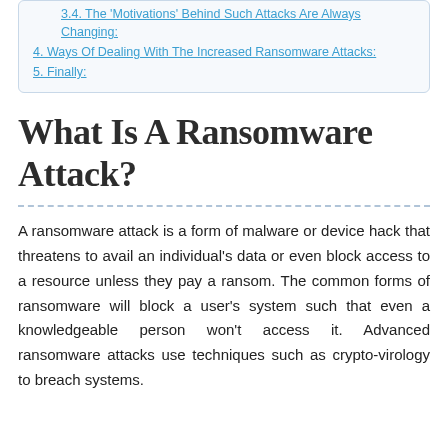3.4. The 'Motivations' Behind Such Attacks Are Always Changing:
4. Ways Of Dealing With The Increased Ransomware Attacks:
5. Finally:
What Is A Ransomware Attack?
A ransomware attack is a form of malware or device hack that threatens to avail an individual's data or even block access to a resource unless they pay a ransom. The common forms of ransomware will block a user's system such that even a knowledgeable person won't access it. Advanced ransomware attacks use techniques such as crypto-virology to breach systems.